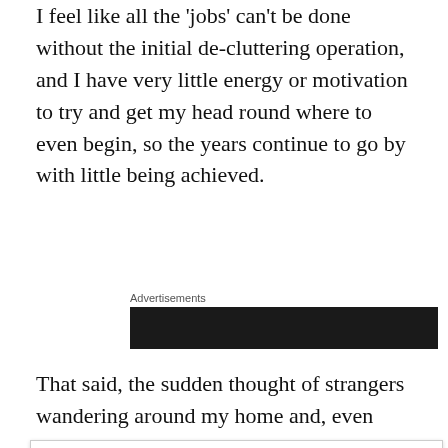I feel like all the 'jobs' can't be done without the initial de-cluttering operation, and I have very little energy or motivation to try and get my head round where to even begin, so the years continue to go by with little being achieved.
[Figure (other): Advertisements banner — dark background ad block]
That said, the sudden thought of strangers wandering around my home and, even with the most open of minds and the greatest ability to see past the detritus of our lives
Privacy & Cookies: This site uses cookies. By continuing to use this website, you agree to their use.
To find out more, including how to control cookies, see here: Cookie Policy
the time or inclination to deal with, etc, etc, just strikes fear